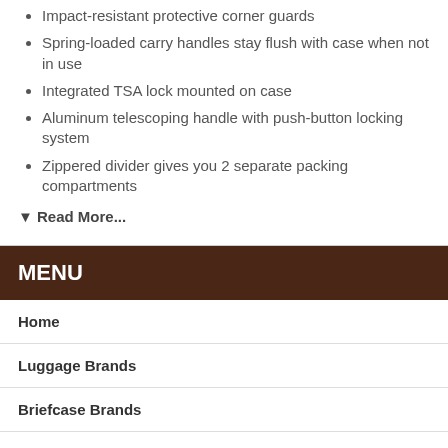Impact-resistant protective corner guards
Spring-loaded carry handles stay flush with case when not in use
Integrated TSA lock mounted on case
Aluminum telescoping handle with push-button locking system
Zippered divider gives you 2 separate packing compartments
▼ Read More...
MENU
Home
Luggage Brands
Briefcase Brands
Categories
Customer Service
About Us